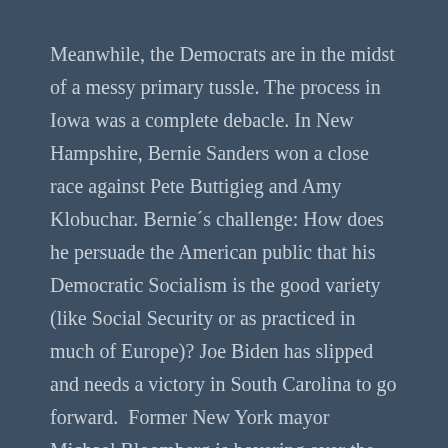Meanwhile, the Democrats are in the midst of a messy primary tussle. The process in Iowa was a complete debacle. In New Hampshire, Bernie Sanders won a close race against Pete Buttigieg and Amy Klobuchar. Bernie´s challenge: How does he persuade the American public that his Democratic Socialism is the good variety (like Social Security or as practiced in much of Europe)? Joe Biden has slipped and needs a victory in South Carolina to go forward.  Former New York mayor Michael Bloomberg is hovering over the field hoping for several wins on super Tuesday.
Hang on to your hats. The next few weeks will be a political roller coaster ride.